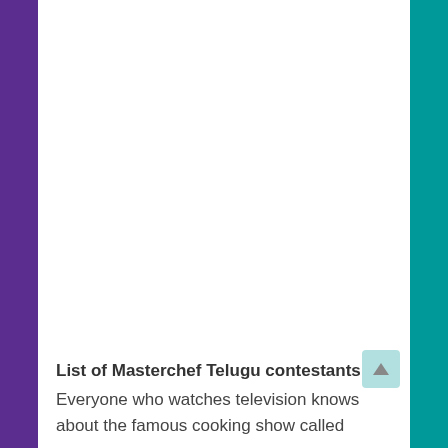List of Masterchef Telugu contestants:
Everyone who watches television knows about the famous cooking show called